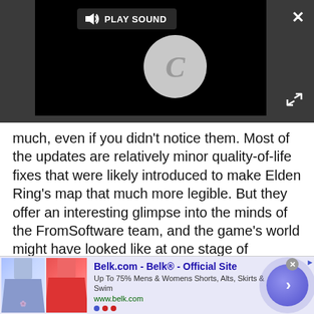[Figure (screenshot): Video player with dark background, 'PLAY SOUND' button with speaker icon, loading spinner with 'C' letter, X close button, and expand icon]
much, even if you didn't notice them. Most of the updates are relatively minor quality-of-life fixes that were likely introduced to make Elden Ring's map that much more legible. But they offer an interesting glimpse into the minds of the FromSoftware team, and the game's world might have looked like at one stage of development.
Tweak the Lands Between to your liking with the
[Figure (screenshot): Advertisement banner for Belk.com - Belk® Official Site. Shows two clothing images (blue floral skirt and red/coral skirt), ad text 'Up To 75% Mens & Womens Shorts, Alts, Skirts & Swim', URL www.belk.com, navigation arrow button, and close/adchoice buttons.]